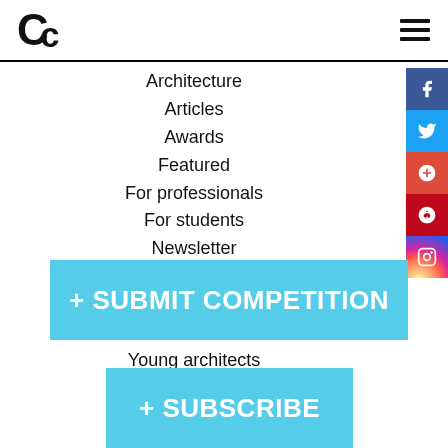Logo and navigation menu header
Architecture
Articles
Awards
Featured
For professionals
For students
Newsletter
Open
Restricted
Results
Young architects
+ SUBMIT COMPETITION
+ SUBSCRIBE